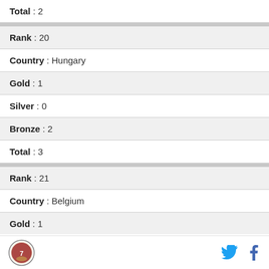| Total | 2 |
| Rank | 20 |
| Country | Hungary |
| Gold | 1 |
| Silver | 0 |
| Bronze | 2 |
| Total | 3 |
| Rank | 21 |
| Country | Belgium |
| Gold | 1 |
| Silver | 0 |